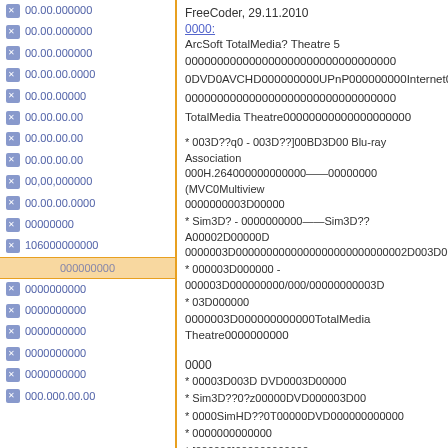00.00.000000
00.00.000000
00.00.000000
00.00.00.0000
00.00.00000
00.00.00.00
00.00.00.00
00.00.00.00
00,00,000000
00.00.00.0000
00000000
106000000000
000000000
0000000000
0000000000
0000000000
0000000000
0000000000
000.000.00.00
FreeCoder, 29.11.2010
0000:
ArcSoft TotalMedia? Theatre 5 000000000000000000000
0DVD0AVCHD000000000UPnP000000000Internet000
000000000000000000000000000000000
TotalMedia Theatre00000000000000000000
* 003D??q0 - 003D??]00BD3D00 Blu-ray Association 000H.264000000000000——00000000 (MVC0Multiview 0000000003D00000
* Sim3D? - 0000000000——Sim3D??A00002D00000D 0000003D0000000000000000000000000002D003D00000
* 000003D000000 - 000003D000000000/000/00000000003D
* 03D000000
0000003D000000000000TotalMedia Theatre0000000000
0000
* 00003D003D DVD0003D00000
* Sim3D??0?z00000DVD000003D00
* 0000SimHD??0T00000DVD000000000000
* 0000000000000
* [000000]000000000000